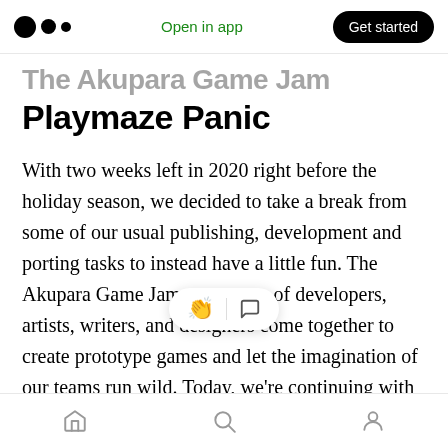Medium logo | Open in app | Get started
The Akupara Game Jam
Playmaze Panic
With two weeks left in 2020 right before the holiday season, we decided to take a break from some of our usual publishing, development and porting tasks to instead have a little fun. The Akupara Game Jam saw teams of developers, artists, writers, and designers come together to create prototype games and let the imagination of our teams run wild. Today, we're continuing with our second o… ypes. You can play the game right now on Itch.io or Gamejolt for
Home | Search | Profile